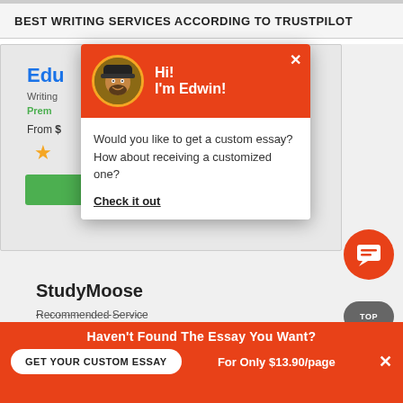BEST WRITING SERVICES ACCORDING TO TRUSTPILOT
[Figure (screenshot): Screenshot of a writing services comparison page showing a card with 'Edu...' (partially hidden by popup), Writing services, Premium label, From $, a star rating, and a green button. Below is StudyMoose - Recommended Service. A popup overlay from 'Edwin' asks 'Would you like to get a custom essay? How about receiving a customized one?' with a 'Check it out' link. Bottom right has a chat bubble icon and TOP button.]
Haven't Found The Essay You Want?
GET YOUR CUSTOM ESSAY
For Only $13.90/page